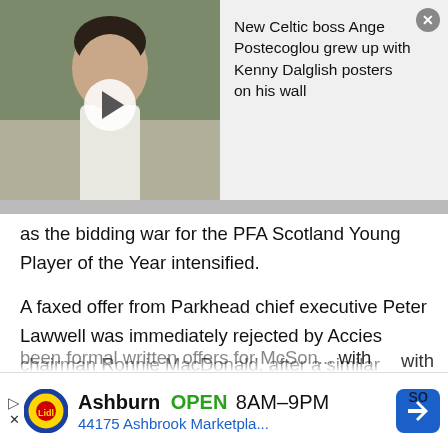[Figure (screenshot): Video thumbnail showing a man in a white shirt against a light background with a play button overlay]
New Celtic boss Ange Postecoglou grew up with Kenny Dalglish posters on his wall
as the bidding war for the PFA Scotland Young Player of the Year intensified.
A faxed offer from Parkhead chief executive Peter Lawwell was immediately rejected by Accies chairman Ronnie MacDonald, after a similar approach from Portsmouth was given short shrift last week.
Sportsmail understands there have now been formal written offers for MacSon... with ... so
[Figure (screenshot): Lidl advertisement banner: Ashburn OPEN 8AM-9PM, 44175 Ashbrook Marketpla...]